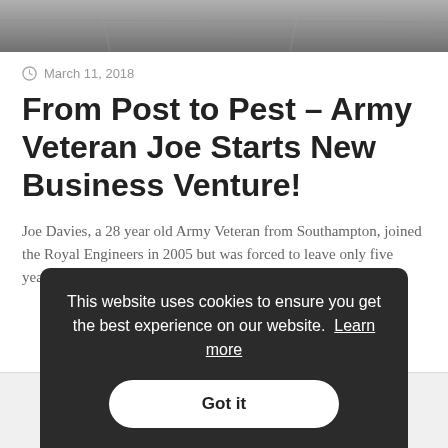[Figure (photo): Top portion of a webpage showing a dark/grey photograph, partially cropped at the top of the page]
March 11, 2018
From Post to Pest – Army Veteran Joe Starts New Business Venture!
Joe Davies, a 28 year old Army Veteran from Southampton, joined the Royal Engineers in 2005 but was forced to leave only five years later after [...]
This website uses cookies to ensure you get the best experience on our website.  Learn more
Got it